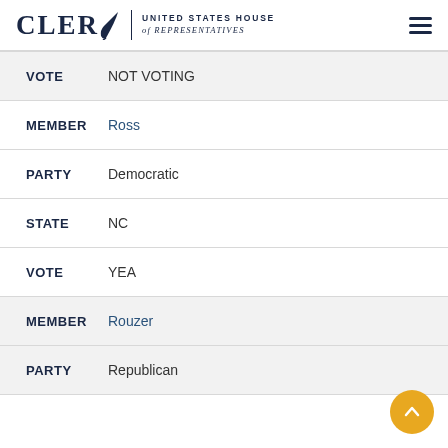CLERK UNITED STATES HOUSE of REPRESENTATIVES
VOTE  NOT VOTING
MEMBER  Ross
PARTY  Democratic
STATE  NC
VOTE  YEA
MEMBER  Rouzer
PARTY  Republican